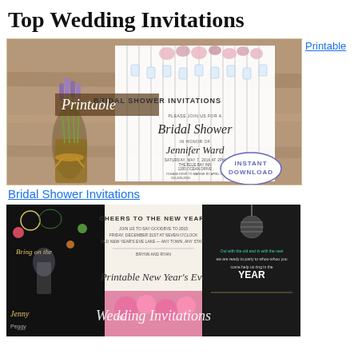Top Wedding Invitations
[Figure (photo): Printable Bridal Shower Invitations promotional image showing a rustic invitation card with mason jars, lavender flowers, and INSTANT DOWNLOAD oval badge. Text on card: 'Printable BRIDAL SHOWER INVITATIONS', 'PLEASE JOIN US FOR A', 'Bridal Shower', 'IN HONOR OF', 'Jennifer Ward', 'SATURDAY, MAY 7, 2016 AT 2PM', 'THE BLUE BAY INN', '1200 OCEAN DRIVE', 'PLEASE RSVP TO MARGIE BY APRIL 11', '555-828-2050', 'COUPLE REGISTERED AT TARGET', 'BED, BATH AND BEYO']
Printable Bridal Shower Invitations
[Figure (photo): Collage of Printable New Year's Eve Wedding Invitations showing three dark/chalkboard style invitation cards with floral and party designs, text includes 'Bring on the', 'CHEERS TO THE NEW YEAR!', 'Printable New Year's Eve', 'Wedding Invitations']